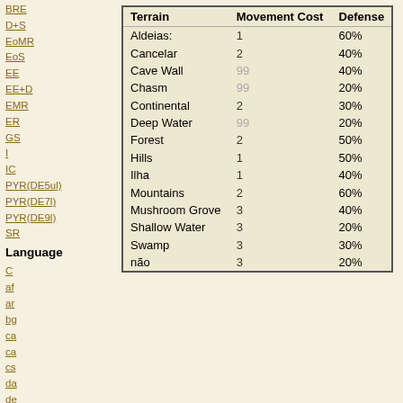BRE
D+S
EoMR
EoS
EE
EE+D
EMR
ER
GS
I
IC
PYR(DE5ul)
PYR(DE7l)
PYR(DE9l)
SR
Language
C
af
ar
bg
ca
ca
cs
da
de
| Terrain | Movement Cost | Defense |
| --- | --- | --- |
| Aldeias: | 1 | 60% |
| Cancelar | 2 | 40% |
| Cave Wall | 99 | 40% |
| Chasm | 99 | 20% |
| Continental | 2 | 30% |
| Deep Water | 99 | 20% |
| Forest | 2 | 50% |
| Hills | 1 | 50% |
| Ilha | 1 | 40% |
| Mountains | 2 | 60% |
| Mushroom Grove | 3 | 40% |
| Shallow Water | 3 | 20% |
| Swamp | 3 | 30% |
| não | 3 | 20% |